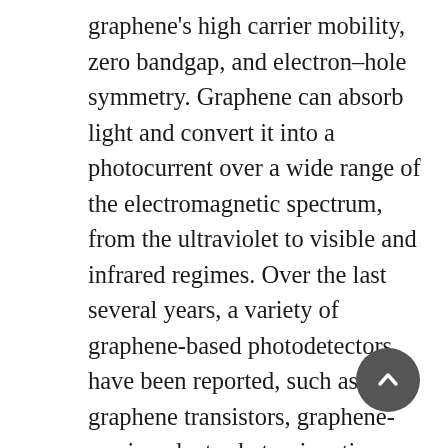graphene's high carrier mobility, zero bandgap, and electron–hole symmetry. Graphene can absorb light and convert it into a photocurrent over a wide range of the electromagnetic spectrum, from the ultraviolet to visible and infrared regimes. Over the last several years, a variety of graphene-based photodetectors have been reported, such as graphene transistors, graphene-semiconductor heterojunction photodetectors, graphene based bolometers. It is also reported that there are several physical mechanisms enabling photodetection: photovoltaic effect, photo-thermoelectric effect, bolometric effect, photogating effect, and so on. In this work, we report a simple approach for the realization of graphene based resistive photo-detection devices and the measurements of their photoelectrical response. The graphene were synthesized directly on the glass substrate by novel growth method patented in our lab